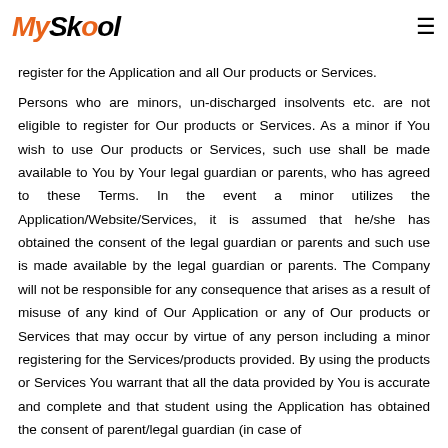MySkool
Persons who are "competent/capable" of contracting within the meaning of the Indian Contract Act, 1872 shall be eligible to register for the Application and all Our products or Services. Persons who are minors, un-discharged insolvents etc. are not eligible to register for Our products or Services. As a minor if You wish to use Our products or Services, such use shall be made available to You by Your legal guardian or parents, who has agreed to these Terms. In the event a minor utilizes the Application/Website/Services, it is assumed that he/she has obtained the consent of the legal guardian or parents and such use is made available by the legal guardian or parents. The Company will not be responsible for any consequence that arises as a result of misuse of any kind of Our Application or any of Our products or Services that may occur by virtue of any person including a minor registering for the Services/products provided. By using the products or Services You warrant that all the data provided by You is accurate and complete and that student using the Application has obtained the consent of parent/legal guardian (in case of